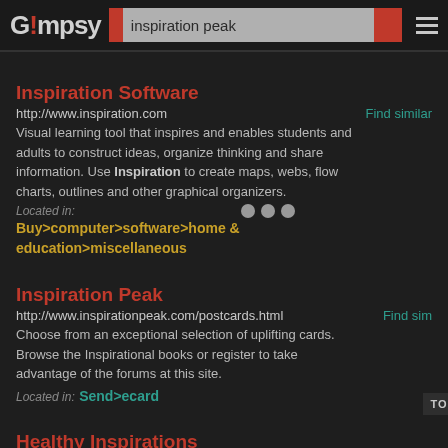Gimpsy | inspiration peak
Inspiration Software
http://www.inspiration.com   Find similar
Visual learning tool that inspires and enables students and adults to construct ideas, organize thinking and share information. Use Inspiration to create maps, webs, flow charts, outlines and other graphical organizers.
Located in:
Buy>computer>software>home & education>miscellaneous
Inspiration Peak
http://www.inspirationpeak.com/postcards.html   Find sim
Choose from an exceptional selection of uplifting cards. Browse the Inspirational books or register to take advantage of the forums at this site.
Located in: Send>ecard
Healthy Inspirations